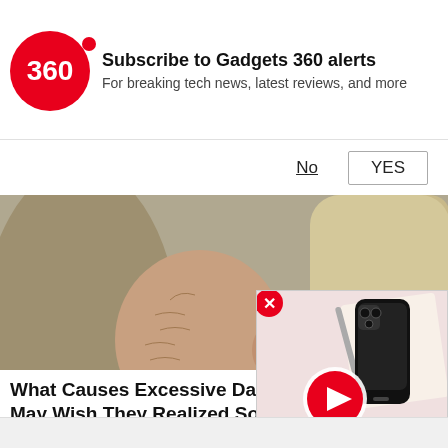Subscribe to Gadgets 360 alerts
For breaking tech news, latest reviews, and more
No   YES
[Figure (photo): Elderly man sleeping/reclining in a beige armchair, wearing a dark brown knit sweater and plaid shirt, eyes closed, arms crossed]
What Causes Excessive Daytime Sle... May Wish They Realized Sooner
Narcolepsy | Search Ads | Sponsored
[Figure (screenshot): Video thumbnail overlay showing a smartphone (black) on a light pink background, with a red play button circle overlay]